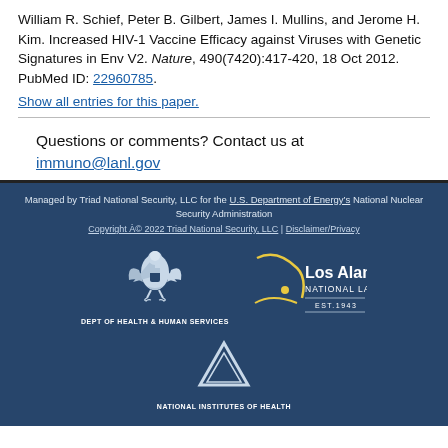William R. Schief, Peter B. Gilbert, James I. Mullins, and Jerome H. Kim. Increased HIV-1 Vaccine Efficacy against Viruses with Genetic Signatures in Env V2. Nature, 490(7420):417-420, 18 Oct 2012. PubMed ID: 22960785.
Show all entries for this paper.
Questions or comments? Contact us at immuno@lanl.gov
Managed by Triad National Security, LLC for the U.S. Department of Energy’s National Nuclear Security Administration
Copyright © 2022 Triad National Security, LLC | Disclaimer/Privacy
[Figure (logo): Dept of Health & Human Services eagle logo]
[Figure (logo): Los Alamos National Laboratory logo EST.1943]
[Figure (logo): National Institutes of Health logo]